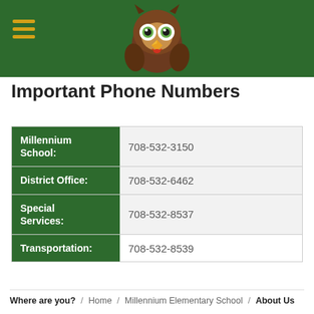[Figure (logo): Cartoon owl mascot head with brown feathers, yellow beak, and big eyes, on a dark green header bar with a hamburger menu icon on the left]
Important Phone Numbers
|  |  |
| --- | --- |
| Millennium School: | 708-532-3150 |
| District Office: | 708-532-6462 |
| Special Services: | 708-532-8537 |
| Transportation: | 708-532-8539 |
Where are you? / Home / Millennium Elementary School / About Us